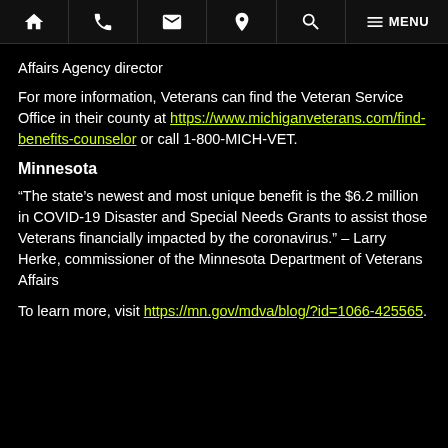Navigation bar with home, phone, email, location, search, and menu icons
Affairs Agency director
For more information, Veterans can find the Veteran Service Office in their county at https://www.michiganveterans.com/find-benefits-counselor or call 1-800-MICH-VET.
Minnesota
“The state’s newest and most unique benefit is the $6.2 million in COVID-19 Disaster and Special Needs Grants to assist those Veterans financially impacted by the coronavirus.” – Larry Herke, commissioner of the Minnesota Department of Veterans Affairs
To learn more, visit https://mn.gov/mdva/blog/?id=1066-425565.